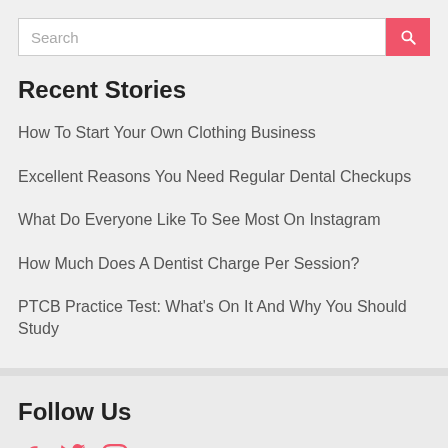Recent Stories
How To Start Your Own Clothing Business
Excellent Reasons You Need Regular Dental Checkups
What Do Everyone Like To See Most On Instagram
How Much Does A Dentist Charge Per Session?
PTCB Practice Test: What's On It And Why You Should Study
Follow Us